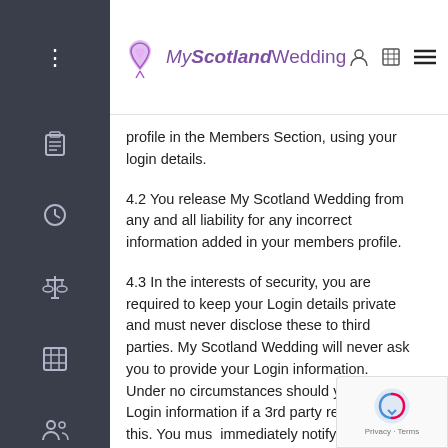My Scotland Wedding
profile in the Members Section, using your login details.
4.2 You release My Scotland Wedding from any and all liability for any incorrect information added in your members profile.
4.3 In the interests of security, you are required to keep your Login details private and must never disclose these to third parties. My Scotland Wedding will never ask you to provide your Login information. Under no circumstances should you share Login information if a 3rd party requests this. You must immediately notify My Scotland Wedding if this situation arises. If you suspect unauthorized activity